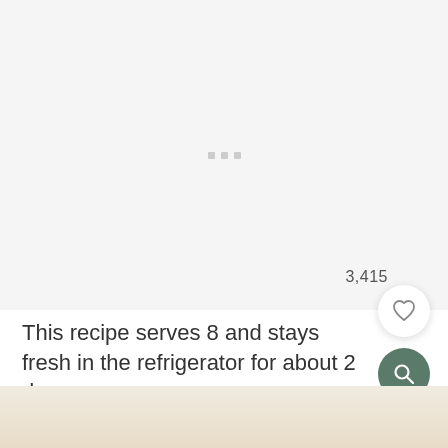[Figure (photo): Large light gray placeholder image area with three small gray square dots in the center, representing a loading or placeholder recipe image.]
3,415
This recipe serves 8 and stays fresh in the refrigerator for about 2 days.
[Figure (photo): Partial bottom image showing the top of a food photograph with warm beige/cream tones.]